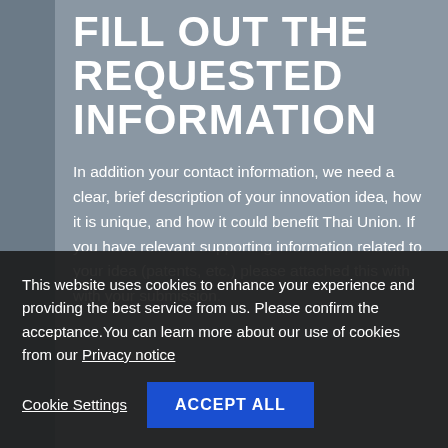FILL OUT THE REQUESTED INFORMATION
In addition your contact information, we need a clear, brief description of your innovation idea, how it is unique, and how it could benefit Thai Union. If you have relevant supporting information related to your idea (patents, etc.) please attached this with with your submission.
This website uses cookies to enhance your experience and providing the best service from us. Please confirm the acceptance. You can learn more about our use of cookies from our Privacy notice